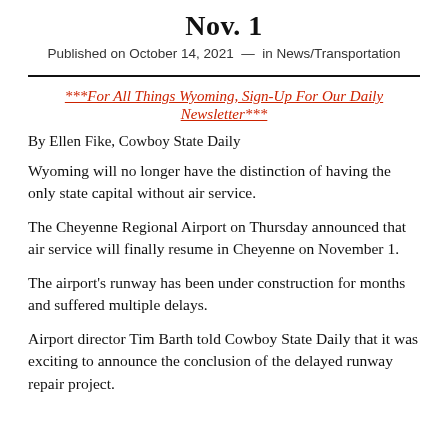Nov. 1
Published on October 14, 2021  —  in News/Transportation
***For All Things Wyoming, Sign-Up For Our Daily Newsletter***
By Ellen Fike, Cowboy State Daily
Wyoming will no longer have the distinction of having the only state capital without air service.
The Cheyenne Regional Airport on Thursday announced that air service will finally resume in Cheyenne on November 1.
The airport's runway has been under construction for months and suffered multiple delays.
Airport director Tim Barth told Cowboy State Daily that it was exciting to announce the conclusion of the delayed runway repair project.